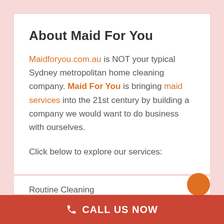About Maid For You
Maidforyou.com.au is NOT your typical Sydney metropolitan home cleaning company. Maid For You is bringing maid services into the 21st century by building a company we would want to do business with ourselves.
Click below to explore our services:
Routine Cleaning
CALL US NOW